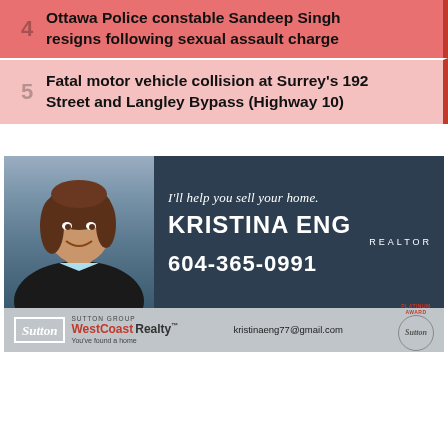4 Ottawa Police constable Sandeep Singh resigns following sexual assault charge
5 Fatal motor vehicle collision at Surrey's 192 Street and Langley Bypass (Highway 10)
[Figure (advertisement): Real estate advertisement for Kristina Eng, REALTOR. Shows a woman's photo on the left. Text reads: 'I'll help you sell your home. KRISTINA ENG REALTOR 604-365-0991'. Bottom shows Sutton Group WestCoast Realty logo, 'You've found a home', award badge, and email kristinaeng77@gmail.com.]